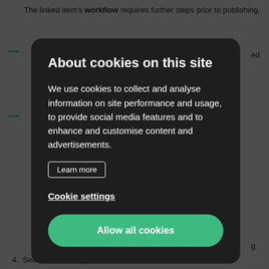The linked item's workflow requires further steps prior to publishing.
ed
About cookies on this site
We use cookies to collect and analyse information on site performance and usage, to provide social media features and to enhance and customise content and advertisements.
Learn more
Cookie settings
Allow all cookies
4.  Select Schedule publish.